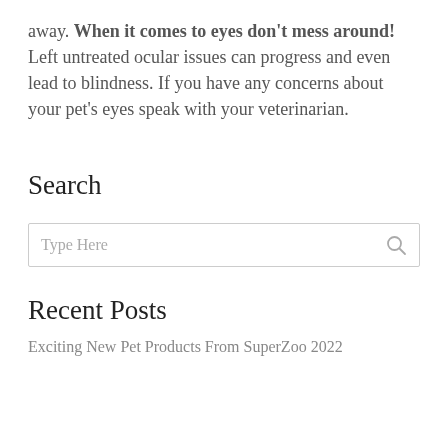away. When it comes to eyes don't mess around! Left untreated ocular issues can progress and even lead to blindness. If you have any concerns about your pet's eyes speak with your veterinarian.
Search
Type Here
Recent Posts
Exciting New Pet Products From SuperZoo 2022